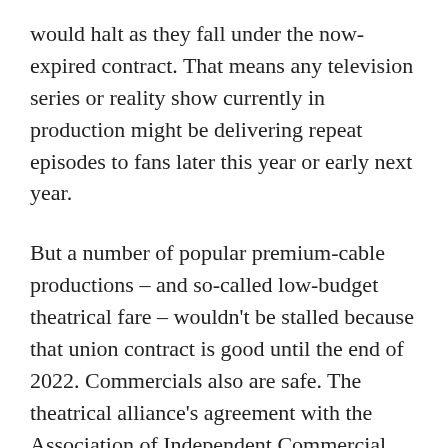would halt as they fall under the now-expired contract. That means any television series or reality show currently in production might be delivering repeat episodes to fans later this year or early next year.
But a number of popular premium-cable productions – and so-called low-budget theatrical fare – wouldn't be stalled because that union contract is good until the end of 2022. Commercials also are safe. The theatrical alliance's agreement with the Association of Independent Commercial Producers runs through Sept. 30, 2022.
“If you are working on commercials or for HBO, Showtime, Starz, Cinemax, BET or another